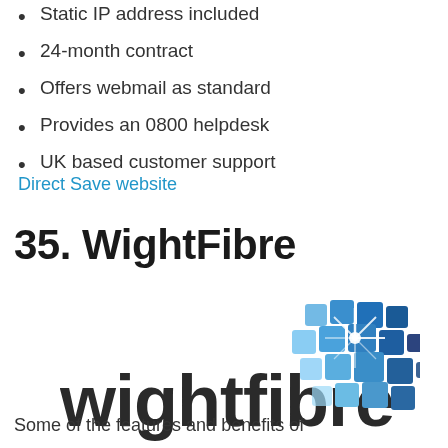Static IP address included
24-month contract
Offers webmail as standard
Provides an 0800 helpdesk
UK based customer support
Direct Save website
35. WightFibre
[Figure (logo): WightFibre logo: text 'wightfibre' in dark grey with a blue mosaic/sparkle grid icon in the upper right]
Some of the features and benefits of